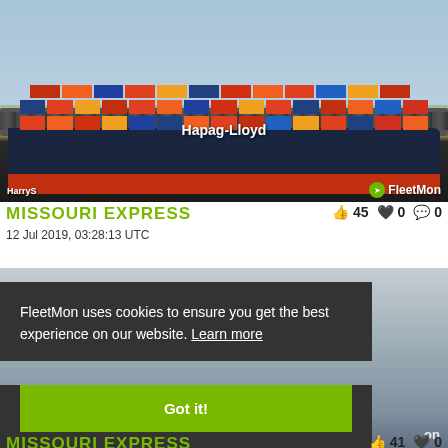[Figure (photo): Hapag-Lloyd container ship Missouri Express photographed from shore, showing stacked colorful containers on deck. Watermark: HarryS (bottom left), FleetMon logo (bottom right).]
MISSOURI EXPRESS
12 Jul 2019, 03:28:13 UTC
45 likes, 0 hearts, 0 comments
[Figure (photo): Second photo of Missouri Express ship, partially obscured by cookie consent overlay. FleetMon watermark visible bottom right.]
FleetMon uses cookies to ensure you get the best experience on our website. Learn more
Got it!
MISSOURI EXPRESS
41 likes, 0 hearts, 0 comments